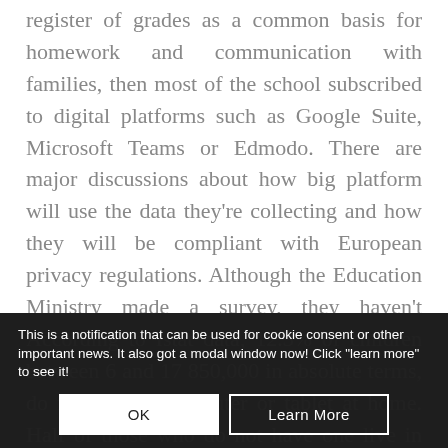register of grades as a common basis for homework and communication with families, then most of the school subscribed to digital platforms such as Google Suite, Microsoft Teams or Edmodo. There are major discussions about how big platform will use the data they're collecting and how they will be compliant with European privacy regulations. Although the Education Ministry made a survey, they haven't released data yet. In general, there is an estimation that 6% of students have not reached by remote education.
According to Istat data, 12.3% of children between 6 and 17 850,000 in absolute terms, do not have a computer or tablet at home. Half of those who do not have one live in southern Italy, where the problem affects 20% of children. Moreover,
This is a notification that can be used for cookie consent or other important news. It also got a modal window now! Click "learn more" to see it!